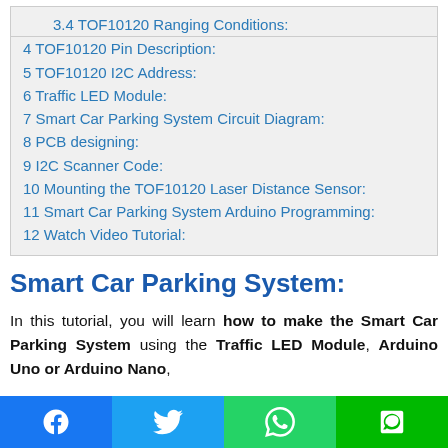3.4 TOF10120 Ranging Conditions:
4 TOF10120 Pin Description:
5 TOF10120 I2C Address:
6 Traffic LED Module:
7 Smart Car Parking System Circuit Diagram:
8 PCB designing:
9 I2C Scanner Code:
10 Mounting the TOF10120 Laser Distance Sensor:
11 Smart Car Parking System Arduino Programming:
12 Watch Video Tutorial:
Smart Car Parking System:
In this tutorial, you will learn how to make the Smart Car Parking System using the Traffic LED Module, Arduino Uno or Arduino Nano,